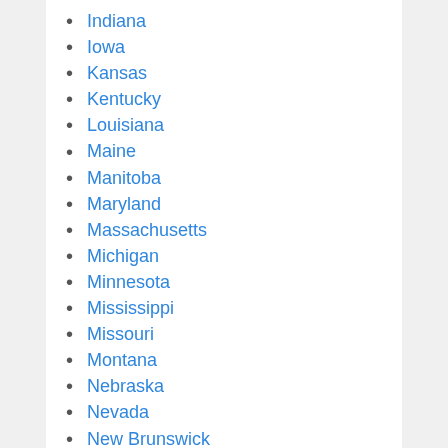Indiana
Iowa
Kansas
Kentucky
Louisiana
Maine
Manitoba
Maryland
Massachusetts
Michigan
Minnesota
Mississippi
Missouri
Montana
Nebraska
Nevada
New Brunswick
New Hampshire
New Jersey